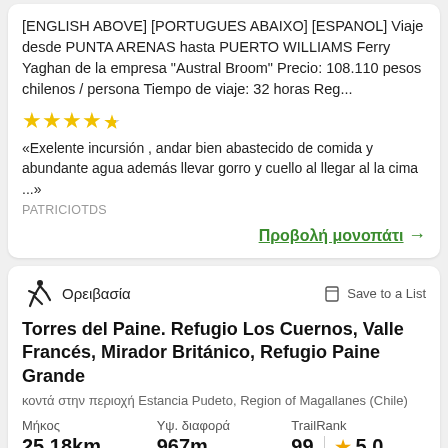[ENGLISH ABOVE] [PORTUGUES ABAIXO] [ESPANOL] Viaje desde PUNTA ARENAS hasta PUERTO WILLIAMS Ferry Yaghan de la empresa "Austral Broom" Precio: 108.110 pesos chilenos / persona Tiempo de viaje: 32 horas Reg...
[Figure (other): 4.5 star rating (yellow stars)]
«Exelente incursión , andar bien abastecido de comida y abundante agua además llevar gorro y cuello al llegar al la cima ...»
PATRICIOTDS
Προβολή μονοπάτι →
Ορειβασία
Save to a List
Torres del Paine. Refugio Los Cuernos, Valle Francés, Mirador Británico, Refugio Paine Grande
κοντά στην περιοχή Estancia Pudeto, Region of Magallanes (Chile)
| Μήκος | Υψ. διαφορά | TrailRank |
| --- | --- | --- |
| 25,18km | 967m | 99 ★ 5.0 |